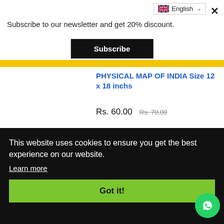[Figure (screenshot): Language selector dropdown showing UK flag and 'English' with a dropdown arrow]
Subscribe to our newsletter and get 20% discount.
Subscribe
PHYSICAL MAP OF INDIA Size 12 x 18 inchs
Rs. 60.00  Rs. 70.00
On
This website uses cookies to ensure you get the best experience on our website.
Learn more
Got it!